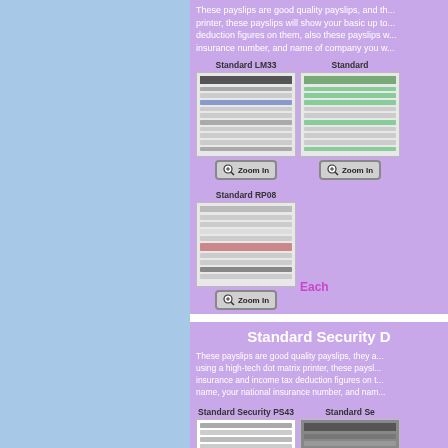These payslips are good quality payslips, and th... printer, these payslips will show your basic up to... deduction figures on them, also these payslips w... insurance number, and name of company you w...
[Figure (screenshot): Standard LM33 payslip form preview thumbnail]
Standard LM33
[Figure (screenshot): Standard payslip form preview thumbnail (right column, top)]
Standard
[Figure (screenshot): Zoom In button for Standard LM33]
[Figure (screenshot): Standard RP08 payslip form preview thumbnail]
Standard RP08
[Figure (screenshot): Zoom In button for Standard RP08]
Each
Standard Security D
These payslips are good quality payslips, they a... using a high-tech dot matrix printer, these paysl... insurance and income tax deduction figures on t... name, your national insurance number, and nam...
Standard Security PS43
Standard Se
[Figure (screenshot): Standard Security PS43 payslip form preview thumbnail]
[Figure (screenshot): Standard Security payslip form preview thumbnail (right)]